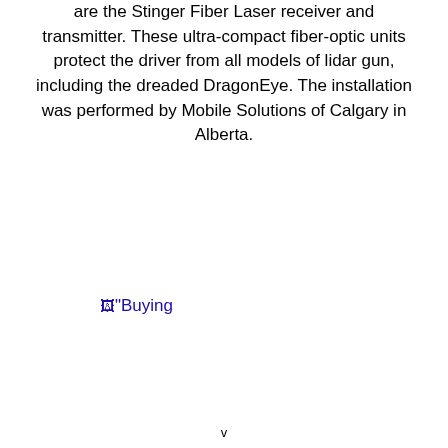are the Stinger Fiber Laser receiver and transmitter. These ultra-compact fiber-optic units protect the driver from all models of lidar gun, including the dreaded DragonEye. The installation was performed by Mobile Solutions of Calgary in Alberta.
[Figure (other): Broken image link with alt text starting with "Buying]
v